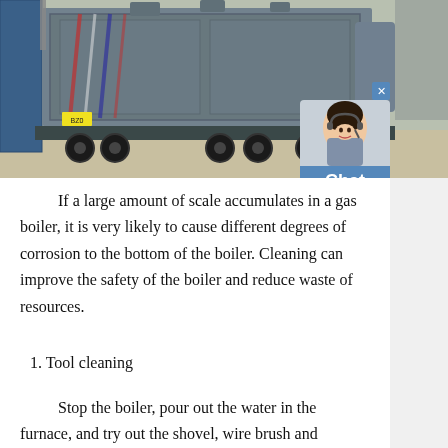[Figure (photo): A large industrial gas boiler loaded on a flatbed truck/trailer, being transported. Blue shipping container visible on the left. The boiler is a large grey metal structure. The scene is in a factory or shipping yard.]
If a large amount of scale accumulates in a gas boiler, it is very likely to cause different degrees of corrosion to the bottom of the boiler. Cleaning can improve the safety of the boiler and reduce waste of resources.
1. Tool cleaning
Stop the boiler, pour out the water in the furnace, and try out the shovel, wire brush and motorized pipe milling